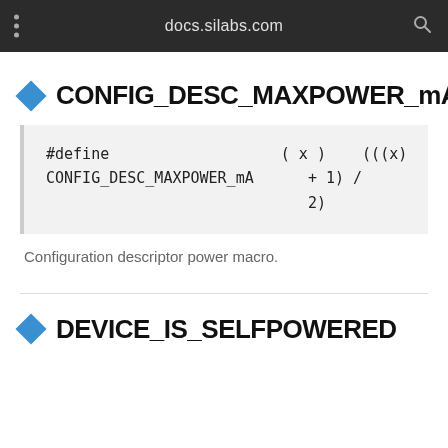docs.silabs.com
CONFIG_DESC_MAXPOWER_mA
Configuration descriptor power macro.
DEVICE_IS_SELFPOWERED